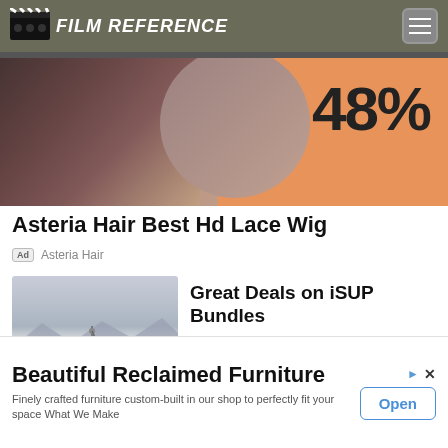Film Reference
[Figure (photo): Partial banner ad showing a woman with dark hair and an orange background with '48%' text]
Asteria Hair Best Hd Lace Wig
Ad  Asteria Hair
[Figure (photo): Person paddle boarding on a still lake with mountains in background]
Great Deals on iSUP Bundles
Ad  Atoll Boards.Co
[Figure (photo): Close-up of a wrist wearing gold bangles/cuffs]
Summer Never Looked So Good
Ad  Rustic Cuff
Beautiful Reclaimed Furniture
Finely crafted furniture custom-built in our shop to perfectly fit your space What We Make